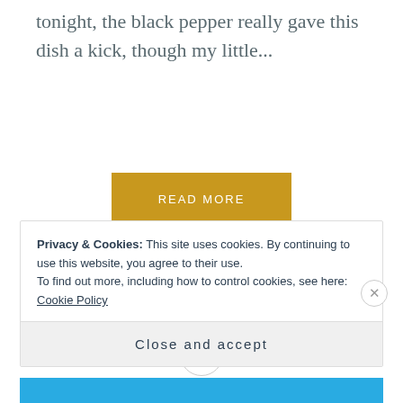tonight, the black pepper really gave this dish a kick, though my little...
READ MORE
[Figure (other): Horizontal divider line with a circle icon containing a hamburger/menu lines symbol in the center]
Privacy & Cookies: This site uses cookies. By continuing to use this website, you agree to their use.
To find out more, including how to control cookies, see here: Cookie Policy
Close and accept